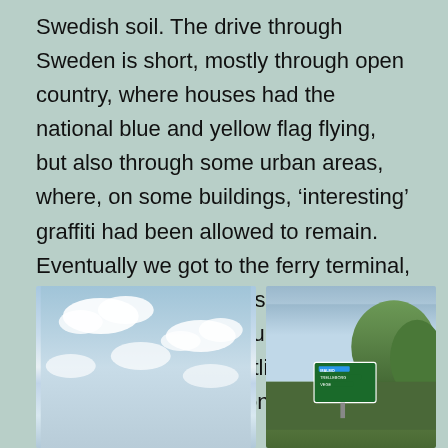Swedish soil. The drive through Sweden is short, mostly through open country, where houses had the national blue and yellow flag flying, but also through some urban areas, where, on some buildings, ‘interesting’ graffiti had been allowed to remain. Eventually we got to the ferry terminal, drove onto the ferry, disembarked, and climbed up to the upper decks. A few hours later, the outline of Bornholm loomed up on the horizon.
[Figure (photo): A photo showing a blue sky with white fluffy clouds.]
[Figure (photo): A photo showing green trees and a blue road sign with white text indicating directions, partially visible.]